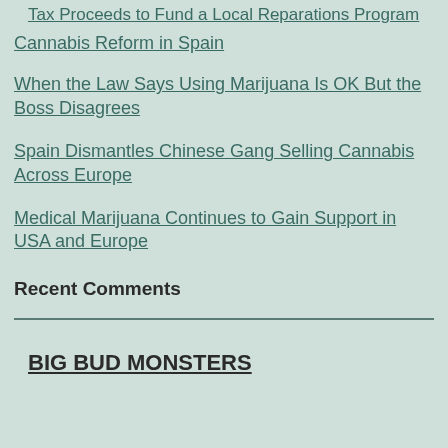Tax Proceeds to Fund a Local Reparations Program
Cannabis Reform in Spain
When the Law Says Using Marijuana Is OK But the Boss Disagrees
Spain Dismantles Chinese Gang Selling Cannabis Across Europe
Medical Marijuana Continues to Gain Support in USA and Europe
Recent Comments
BIG BUD MONSTERS